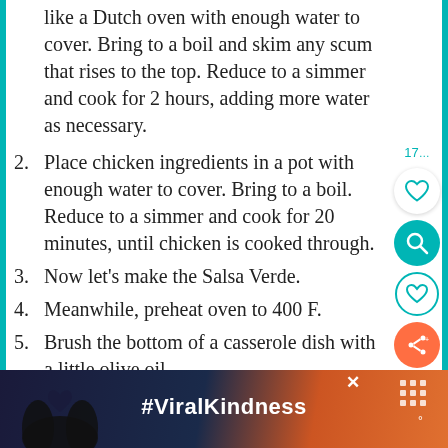like a Dutch oven with enough water to cover. Bring to a boil and skim any scum that rises to the top. Reduce to a simmer and cook for 2 hours, adding more water as necessary.
2. Place chicken ingredients in a pot with enough water to cover. Bring to a boil. Reduce to a simmer and cook for 20 minutes, until chicken is cooked through.
3. Now let’s make the Salsa Verde.
4. Meanwhile, preheat oven to 400 F.
5. Brush the bottom of a casserole dish with a little olive oil.
6. Add tomatillos, jalapenos and poblano
[Figure (screenshot): Ad banner at bottom showing hands forming heart shape with #ViralKindness text]